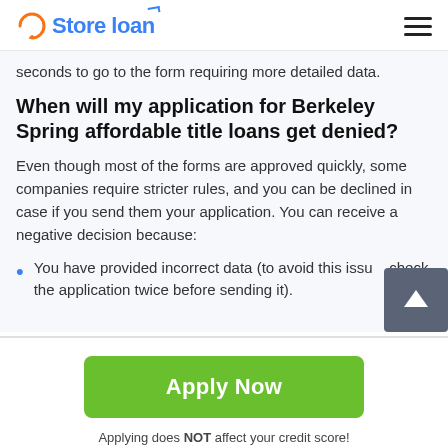Store loan
seconds to go to the form requiring more detailed data.
When will my application for Berkeley Spring affordable title loans get denied?
Even though most of the forms are approved quickly, some companies require stricter rules, and you can be declined in case if you send them your application. You can receive a negative decision because:
You have provided incorrect data (to avoid this issue, check the application twice before sending it).
Apply Now
Applying does NOT affect your credit score! No credit check to apply.